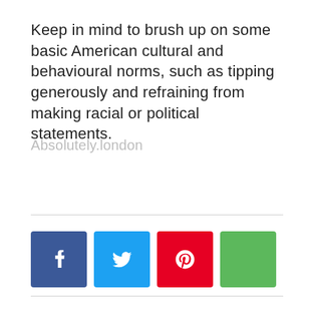Keep in mind to brush up on some basic American cultural and behavioural norms, such as tipping generously and refraining from making racial or political statements.
Absolutely.london
[Figure (other): Social media share buttons: Facebook (blue), Twitter (light blue), Pinterest (red), and one green button (no icon visible)]